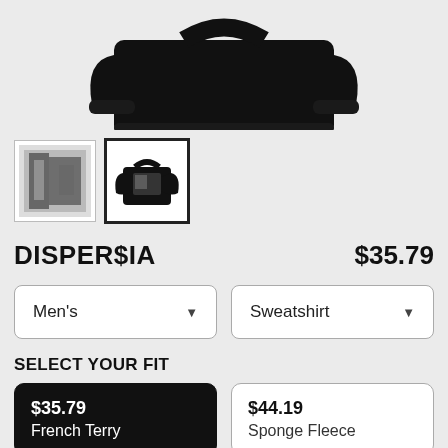[Figure (photo): Black sweatshirt product photo viewed from front, partially cropped showing upper portion]
[Figure (photo): Two product thumbnail images: left shows graphic/print closeup, right shows sweatshirt with graphic (selected, with thick border)]
DISPER$IA
$35.79
Men's
Sweatshirt
SELECT YOUR FIT
$35.79
French Terry
$44.19
Sponge Fleece